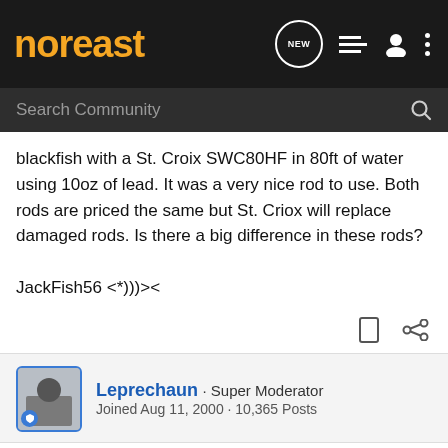noreast
blackfish with a St. Croix SWC80HF in 80ft of water using 10oz of lead. It was a very nice rod to use. Both rods are priced the same but St. Criox will replace damaged rods. Is there a big difference in these rods?

JackFish56 <*)))><
Leprechaun · Super Moderator
Joined Aug 11, 2000 · 10,365 Posts
#2 · Jan 16, 2002
After having plenty of good custom rods built and buying